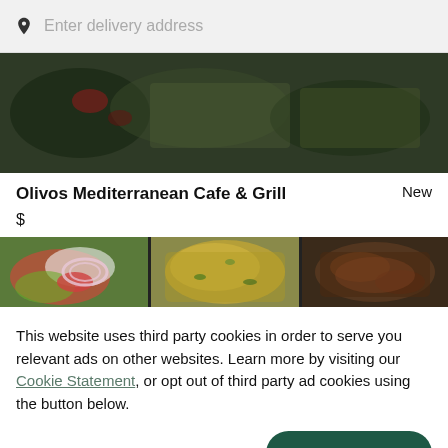Enter delivery address
[Figure (photo): Top food image showing Mediterranean dishes from above, dark background]
Olivos Mediterranean Cafe & Grill  New
$
[Figure (photo): Three food photos side by side: salad with tomatoes and onions, egg dish, and grilled meat]
This website uses third party cookies in order to serve you relevant ads on other websites. Learn more by visiting our Cookie Statement, or opt out of third party ad cookies using the button below.
OPT OUT
GOT IT